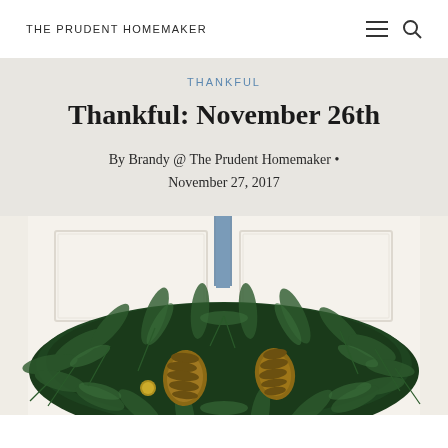THE PRUDENT HOMEMAKER
THANKFUL
Thankful: November 26th
By Brandy @ The Prudent Homemaker • November 27, 2017
[Figure (photo): A Christmas wreath made of pine branches and pine cones hanging on a white paneled door with a blue ribbon]